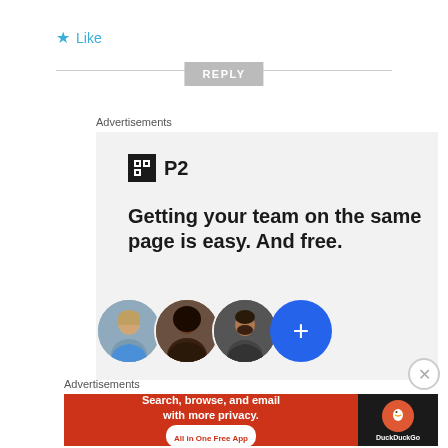★ Like
REPLY
Advertisements
[Figure (screenshot): P2 advertisement: Getting your team on the same page is easy. And free. Shows three avatar photos and a blue plus button.]
Advertisements
[Figure (screenshot): DuckDuckGo advertisement: Search, browse, and email with more privacy. All in One Free App.]